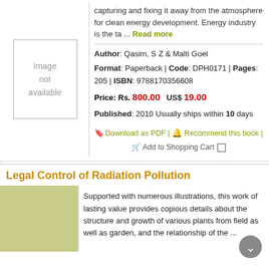capturing and fixing it away from the atmosphere for clean energy development. Energy industry is the ta ... Read more
Author: Qasim, S Z & Malti Goel
Format: Paperback | Code: DPH0171 | Pages: 205 | ISBN: 9788170356608
Price: Rs. 800.00   US$ 19.00
Published: 2010 Usually ships within 10 days
Download as PDF | Recommend this book | Add to Shopping Cart
[Figure (illustration): Image not available placeholder box]
Legal Control of Radiation Pollution
Supported with numerous illustrations, this work of lasting value provides copious details about the structure and growth of various plants from field as well as garden, and the relationship of the ...